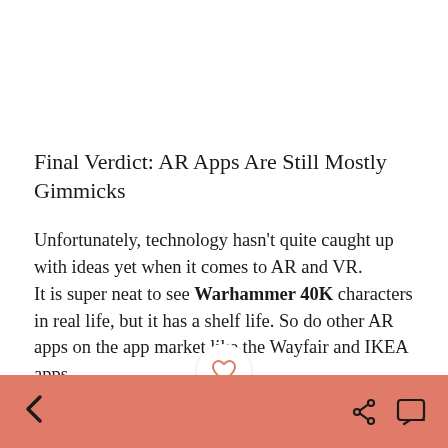Final Verdict: AR Apps Are Still Mostly Gimmicks
Unfortunately, technology hasn't quite caught up with ideas yet when it comes to AR and VR.
It is super neat to see Warhammer 40K characters in real life, but it has a shelf life. So do other AR apps on the app market like the Wayfair and IKEA apps.
The American Airlines app might be useful for some users. But it falls in the same category as AR
< [heart icon] [share icon] [comment icon]